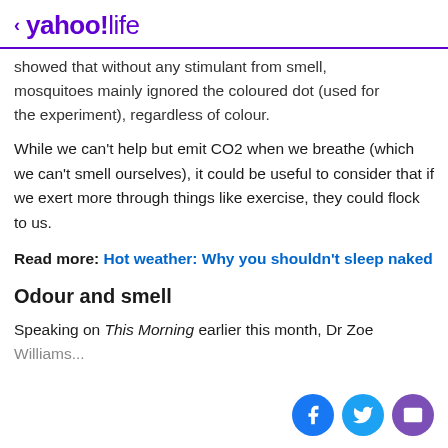< yahoo!life
showed that without any stimulant from smell, mosquitoes mainly ignored the coloured dot (used for the experiment), regardless of colour.
While we can't help but emit CO2 when we breathe (which we can't smell ourselves), it could be useful to consider that if we exert more through things like exercise, they could flock to us.
Read more: Hot weather: Why you shouldn't sleep naked
Odour and smell
Speaking on This Morning earlier this month, Dr Zoe Williams...